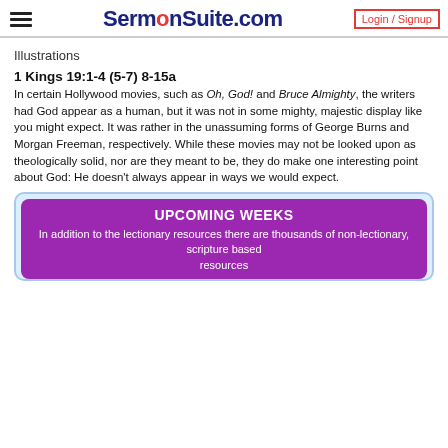SermonSuite.com — Login / Signup
Illustrations
1 Kings 19:1-4 (5-7) 8-15a
In certain Hollywood movies, such as Oh, God! and Bruce Almighty, the writers had God appear as a human, but it was not in some mighty, majestic display like you might expect. It was rather in the unassuming forms of George Burns and Morgan Freeman, respectively. While these movies may not be looked upon as theologically solid, nor are they meant to be, they do make one interesting point about God: He doesn't always appear in ways we would expect.
UPCOMING WEEKS
In addition to the lectionary resources there are thousands of non-lectionary, scripture based resources